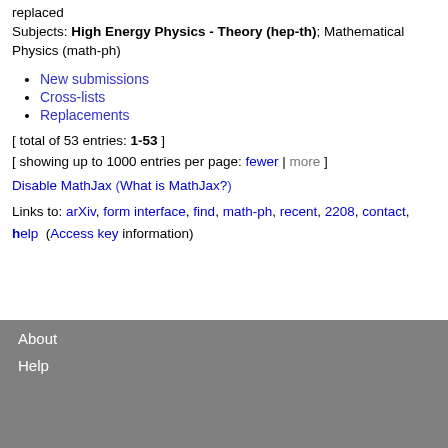replaced
Subjects: High Energy Physics - Theory (hep-th); Mathematical Physics (math-ph)
New submissions
Cross-lists
Replacements
[ total of 53 entries: 1-53 ]
[ showing up to 1000 entries per page: fewer | more ]
Disable MathJax (What is MathJax?)
Links to: arXiv, form interface, find, math-ph, recent, 2208, contact, help  (Access key information)
About
Help